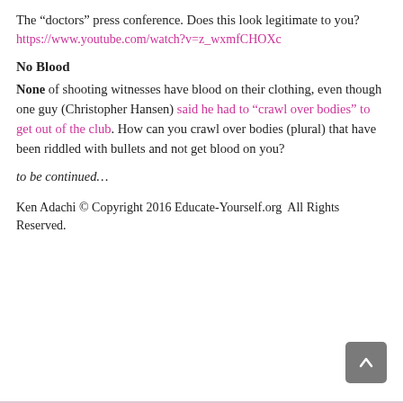The “doctors” press conference. Does this look legitimate to you?
https://www.youtube.com/watch?v=z_wxmfCHOXc
No Blood
None of shooting witnesses have blood on their clothing, even though one guy (Christopher Hansen) said he had to “crawl over bodies” to get out of the club. How can you crawl over bodies (plural) that have been riddled with bullets and not get blood on you?
to be continued…
Ken Adachi © Copyright 2016 Educate-Yourself.org  All Rights Reserved.